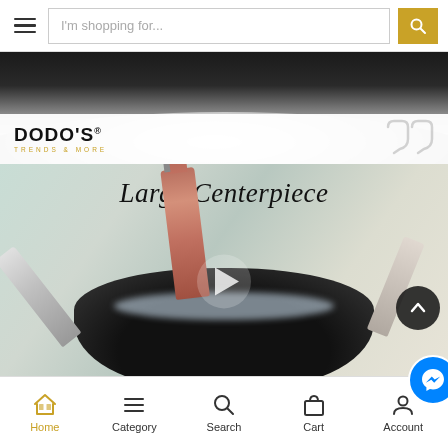I'm shopping for... [search bar]
[Figure (photo): Top portion of a stainless steel centerpiece bowl with DODO'S Trends & More logo overlay and quotation mark icon]
[Figure (photo): Video thumbnail showing champagne bottles in a large dark ice bucket with script text 'Large Centerpiece' and a play button overlay]
Home | Category | Search | Cart | Account